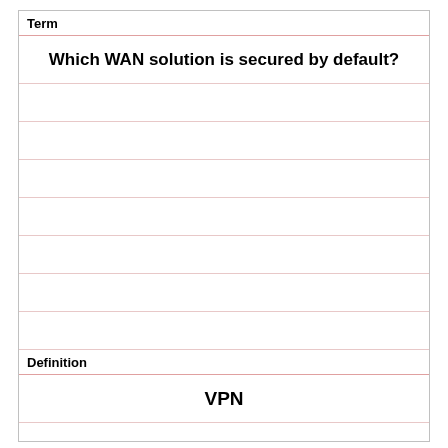Term
Which WAN solution is secured by default?
Definition
VPN